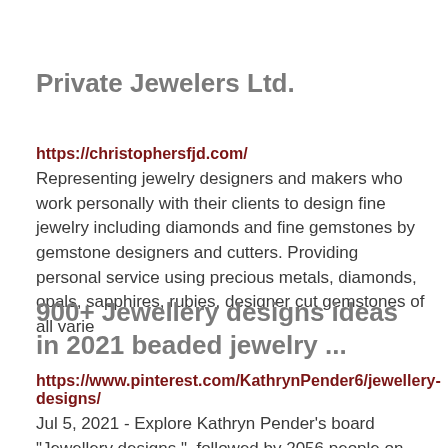Private Jewelers Ltd.
https://christophersfjd.com/
Representing jewelry designers and makers who work personally with their clients to design fine jewelry including diamonds and fine gemstones by gemstone designers and cutters. Providing personal service using precious metals, diamonds, opals, sapphires, rubies, designer cut gemstones of all varie
900+ Jewellery designs ideas in 2021 beaded jewelry ...
https://www.pinterest.com/KathrynPender6/jewellery-designs/
Jul 5, 2021 - Explore Kathryn Pender's board "Jewellery designs ", followed by 2056 people on Pinterest. See